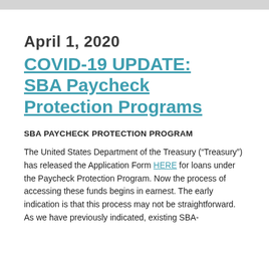April 1, 2020
COVID-19 UPDATE: SBA Paycheck Protection Programs
SBA PAYCHECK PROTECTION PROGRAM
The United States Department of the Treasury (“Treasury”) has released the Application Form HERE for loans under the Paycheck Protection Program. Now the process of accessing these funds begins in earnest. The early indication is that this process may not be straightforward. As we have previously indicated, existing SBA-